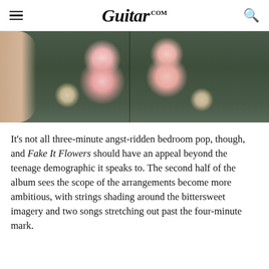Guitar.com
[Figure (photo): Close-up photo of a person wearing a dark floral top with large pink roses pattern, showing torso and arms with tattoos visible]
It’s not all three-minute angst-ridden bedroom pop, though, and Fake It Flowers should have an appeal beyond the teenage demographic it speaks to. The second half of the album sees the scope of the arrangements become more ambitious, with strings shading around the bittersweet imagery and two songs stretching out past the four-minute mark.